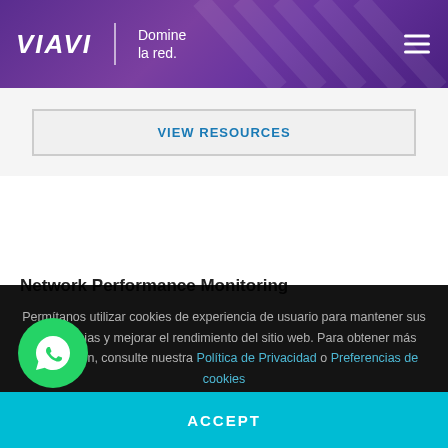[Figure (logo): VIAVI Solutions logo with tagline 'Domine la red.' on purple gradient background with hamburger menu icon]
VIEW RESOURCES
Network Performance Monitoring
Permítanos utilizar cookies de experiencia de usuario para mantener sus preferencias y mejorar el rendimiento del sitio web. Para obtener más información, consulte nuestra Política de Privacidad o Preferencias de cookies
[Figure (illustration): Green WhatsApp phone icon circle button]
ACCEPT